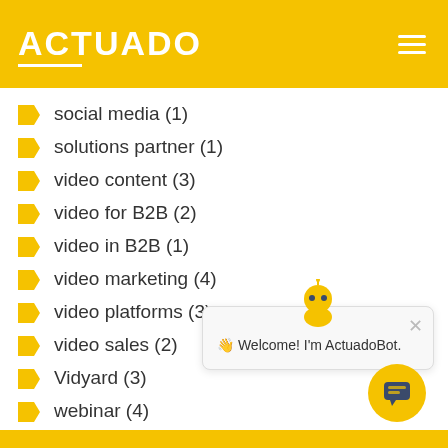ACTUADO
social media (1)
solutions partner (1)
video content (3)
video for B2B (2)
video in B2B (1)
video marketing (4)
video platforms (3)
video sales (2)
Vidyard (3)
webinar (4)
👋 Welcome! I'm ActuadoBot.